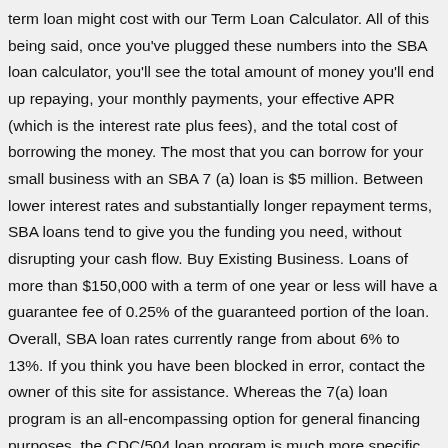term loan might cost with our Term Loan Calculator. All of this being said, once you've plugged these numbers into the SBA loan calculator, you'll see the total amount of money you'll end up repaying, your monthly payments, your effective APR (which is the interest rate plus fees), and the total cost of borrowing the money. The most that you can borrow for your small business with an SBA 7 (a) loan is $5 million. Between lower interest rates and substantially longer repayment terms, SBA loans tend to give you the funding you need, without disrupting your cash flow. Buy Existing Business. Loans of more than $150,000 with a term of one year or less will have a guarantee fee of 0.25% of the guaranteed portion of the loan. Overall, SBA loan rates currently range from about 6% to 13%. If you think you have been blocked in error, contact the owner of this site for assistance. Whereas the 7(a) loan program is an all-encompassing option for general financing purposes, the CDC/504 loan program is much more specific. The reserve/guaranty fee paid to SBA to offset loan losses and program administrative expense has been eliminated as of